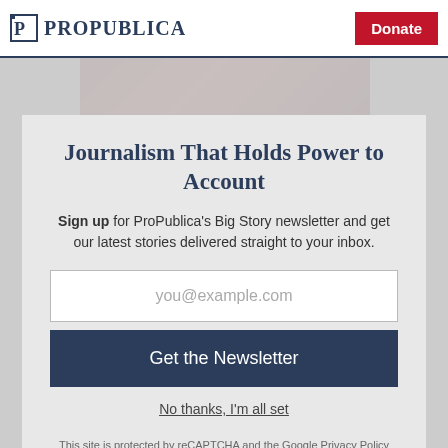ProPublica | Donate
Lt. Ramírez was admired on the
Journalism That Holds Power to Account
Sign up for ProPublica's Big Story newsletter and get our latest stories delivered straight to your inbox.
you@example.com
Get the Newsletter
No thanks, I'm all set
This site is protected by reCAPTCHA and the Google Privacy Policy and Terms of Service apply.